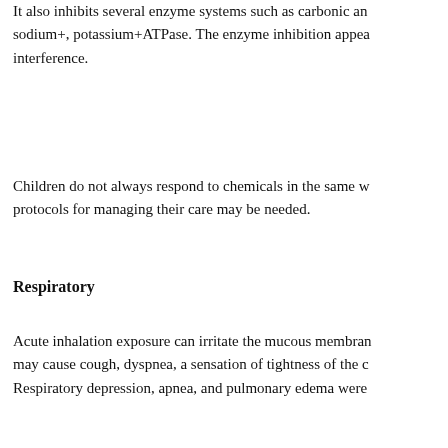It also inhibits several enzyme systems such as carbonic an… sodium+, potassium+ATPase. The enzyme inhibition appea… interference.
Children do not always respond to chemicals in the same w… protocols for managing their care may be needed.
Respiratory
Acute inhalation exposure can irritate the mucous membran… may cause cough, dyspnea, a sensation of tightness of the c… Respiratory depression, apnea, and pulmonary edema were…
Children may be more vulnerable to gas exposure because … ventilation per kg and failure to evacuate an area promptly…
Hematologic
Severe hemolytic anemia may occur in people with glucose…